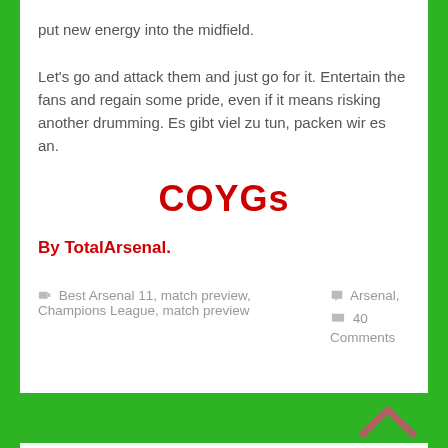put new energy into the midfield. Let's go and attack them and just go for it. Entertain the fans and regain some pride, even if it means risking another drumming. Es gibt viel zu tun, packen wir es an.
COYGs
By TotalArsenal.
Best Arsenal 11, match preview, Champions League, match preview
Arsenal, 40 Comments